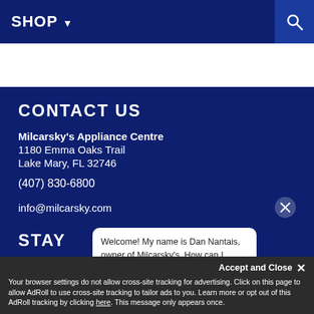SHOP ▾
CONTACT US
Milcarsky's Appliance Centre
1180 Emma Oaks Trail
Lake Mary, FL 32746

(407) 830-6800

info@milcarsky.com
STAY
Welcome! My name is Dan Nantais, owner of Milcarsky's. How can I assist you today?
Your browser settings do not allow cross-site tracking for advertising. Click on this page to allow AdRoll to use cross-site tracking to tailor ads to you. Learn more or opt out of this AdRoll tracking by clicking here. This message only appears once.